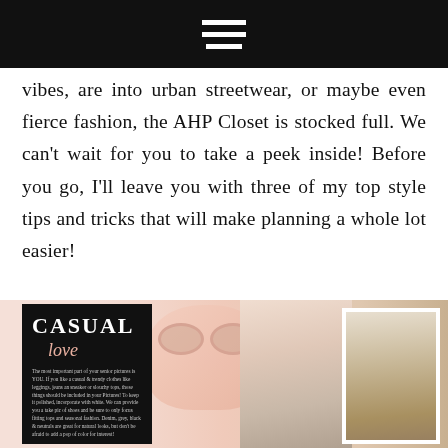Navigation menu icon (hamburger)
vibes, are into urban streetwear, or maybe even fierce fashion, the AHP Closet is stocked full. We can't wait for you to take a peek inside! Before you go, I'll leave you with three of my top style tips and tricks that will make planning a whole lot easier!
[Figure (photo): Photo collage at the bottom of the page showing a 'Casual love' card on black background, pink sunglasses, a flat lay of jeans and accessories, and a portrait photo of a young woman in a field.]